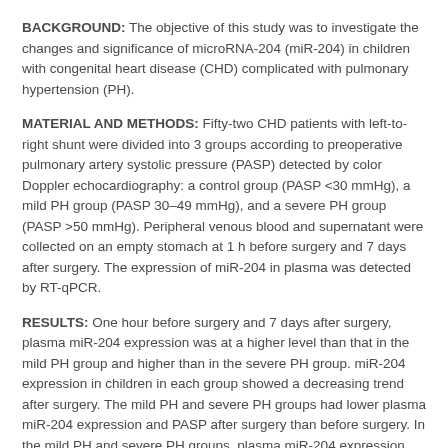BACKGROUND: The objective of this study was to investigate the changes and significance of microRNA-204 (miR-204) in children with congenital heart disease (CHD) complicated with pulmonary hypertension (PH).
MATERIAL AND METHODS: Fifty-two CHD patients with left-to-right shunt were divided into 3 groups according to preoperative pulmonary artery systolic pressure (PASP) detected by color Doppler echocardiography: a control group (PASP <30 mmHg), a mild PH group (PASP 30–49 mmHg), and a severe PH group (PASP >50 mmHg). Peripheral venous blood and supernatant were collected on an empty stomach at 1 h before surgery and 7 days after surgery. The expression of miR-204 in plasma was detected by RT-qPCR.
RESULTS: One hour before surgery and 7 days after surgery, plasma miR-204 expression was at a higher level than that in the mild PH group and higher than in the severe PH group. miR-204 expression in children in each group showed a decreasing trend after surgery. The mild PH and severe PH groups had lower plasma miR-204 expression and PASP after surgery than before surgery. In the mild PH and severe PH groups, plasma miR-204 expression was negatively correlated with PASP. In all 52 cases, plasma miR-204 expression was negatively correlated with PASP.